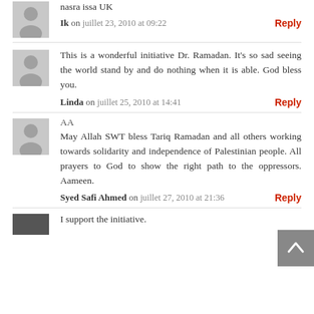nasra issa UK
Ik on juillet 23, 2010 at 09:22  Reply
This is a wonderful initiative Dr. Ramadan. It's so sad seeing the world stand by and do nothing when it is able. God bless you.
Linda on juillet 25, 2010 at 14:41  Reply
AA
May Allah SWT bless Tariq Ramadan and all others working towards solidarity and independence of Palestinian people. All prayers to God to show the right path to the oppressors. Aameen.
Syed Safi Ahmed on juillet 27, 2010 at 21:36  Reply
I support the initiative.